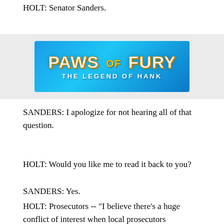(END VIDEO CLIP)
HOLT: Senator Sanders.
[Figure (other): Advertisement banner for 'Paws of Fury: The Legend of Hank' — blue gradient background with large bold white and gold text.]
SANDERS: I apologize for not hearing all of that question.
HOLT: Would you like me to read it back to you?
SANDERS: Yes.
HOLT: Prosecutors -- "I believe there's a huge conflict of interest when local prosecutors investigate cases of police violence within their communities. Most